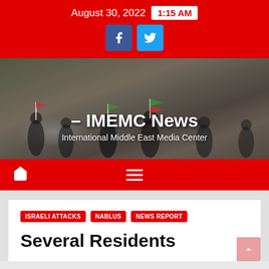August 30, 2022  1:15 AM
[Figure (photo): Protest scene with people waving flags in a field, with smoke in the background. IMEMC News banner overlay.]
– IMEMC News
International Middle East Media Center
ISRAELI ATTACKS  NABLUS  NEWS REPORT
Several Residents